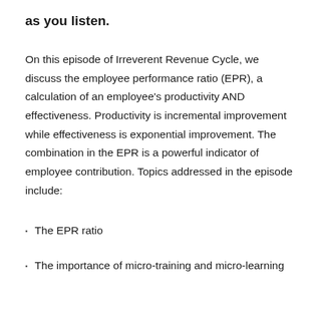as you listen.
On this episode of Irreverent Revenue Cycle, we discuss the employee performance ratio (EPR), a calculation of an employee's productivity AND effectiveness. Productivity is incremental improvement while effectiveness is exponential improvement. The combination in the EPR is a powerful indicator of employee contribution. Topics addressed in the episode include:
The EPR ratio
The importance of micro-training and micro-learning